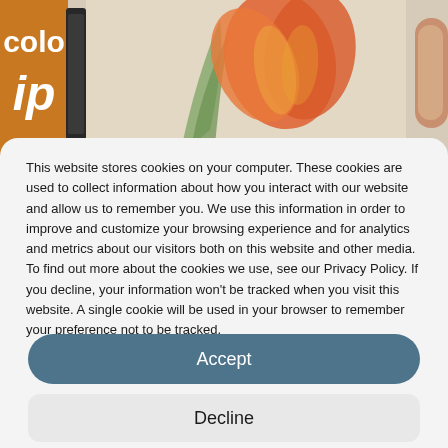[Figure (photo): Background image showing a colorful app interface with a painted tulip flower and a hand holding a tablet device. Left side shows orange background with white bold text 'colo' and 'ip'. Center shows green leaf and orange-red tulip petals. Right edge shows a hand/finger.]
This website stores cookies on your computer. These cookies are used to collect information about how you interact with our website and allow us to remember you. We use this information in order to improve and customize your browsing experience and for analytics and metrics about our visitors both on this website and other media. To find out more about the cookies we use, see our Privacy Policy. If you decline, your information won't be tracked when you visit this website. A single cookie will be used in your browser to remember your preference not to be tracked.
Accept
Decline
View preferences
Cookie Policy